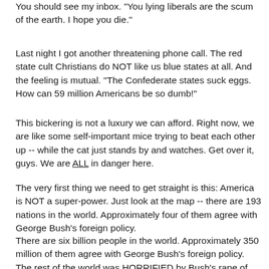You should see my inbox. "You lying liberals are the scum of the earth. I hope you die."
Last night I got another threatening phone call. The red state cult Christians do NOT like us blue states at all. And the feeling is mutual. "The Confederate states suck eggs. How can 59 million Americans be so dumb!"
This bickering is not a luxury we can afford. Right now, we are like some self-important mice trying to beat each other up -- while the cat just stands by and watches. Get over it, guys. We are ALL in danger here.
The very first thing we need to get straight is this: America is NOT a super-power. Just look at the map -- there are 193 nations in the world. Approximately four of them agree with George Bush's foreign policy.
There are six billion people in the world. Approximately 350 million of them agree with George Bush's foreign policy. The rest of the world was HORRIFIED by Bush's rape of Fallugah and they can't help thinking that, if Bush is allowed to